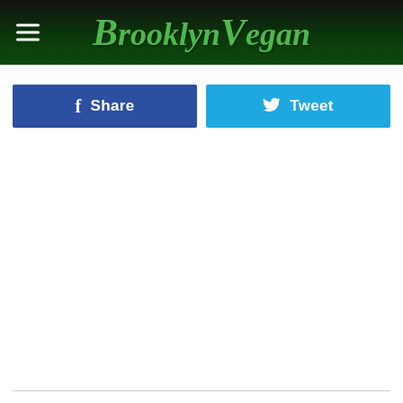BrooklynVegan
Share
Tweet
AFROPUNK BROOKLYN
Afropunk is finally back with its first Brooklyn fest since 2019,